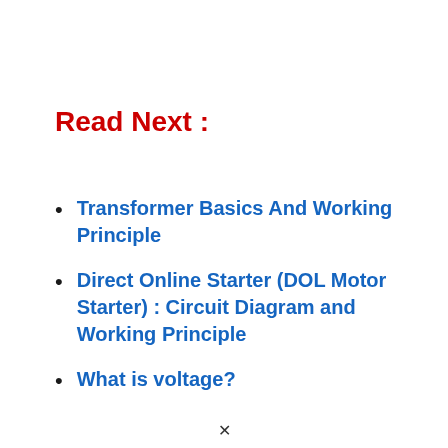Read Next :
Transformer Basics And Working Principle
Direct Online Starter (DOL Motor Starter) : Circuit Diagram and Working Principle
What is voltage?